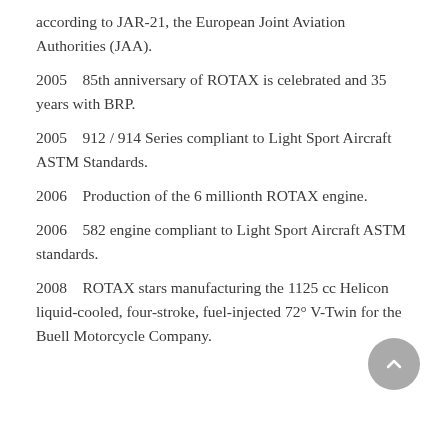according to JAR-21, the European Joint Aviation Authorities (JAA).
2005    85th anniversary of ROTAX is celebrated and 35 years with BRP.
2005    912 / 914 Series compliant to Light Sport Aircraft ASTM Standards.
2006    Production of the 6 millionth ROTAX engine.
2006    582 engine compliant to Light Sport Aircraft ASTM standards.
2008    ROTAX stars manufacturing the 1125 cc Helicon liquid-cooled, four-stroke, fuel-injected 72° V-Twin for the Buell Motorcycle Company.